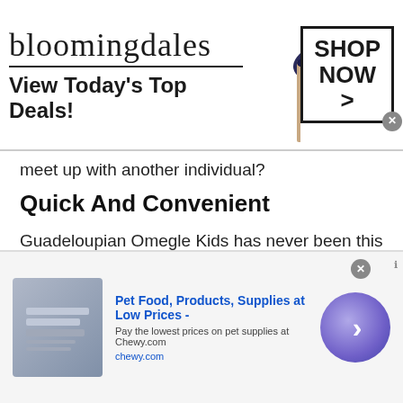[Figure (screenshot): Bloomingdales advertisement banner: logo text 'bloomingdales', tagline 'View Today's Top Deals!', image of woman in wide-brim hat, 'SHOP NOW >' button in box]
meet up with another individual?
Quick And Convenient
Guadeloupian Omegle Kids has never been this easy! The time you would have taken to travel from the comfort of your home to your destination and the time it takes to log onto our online platform have no comparison!
Instead of travelling, you just log onto our site and join a private chat room and in a matter of seconds you see a stranger on screen. Since don't have to leave
[Figure (screenshot): Chewy.com advertisement: 'Pet Food, Products, Supplies at Low Prices -', 'Pay the lowest prices on pet supplies at Chewy.com', 'chewy.com', with arrow button and product image thumbnail]